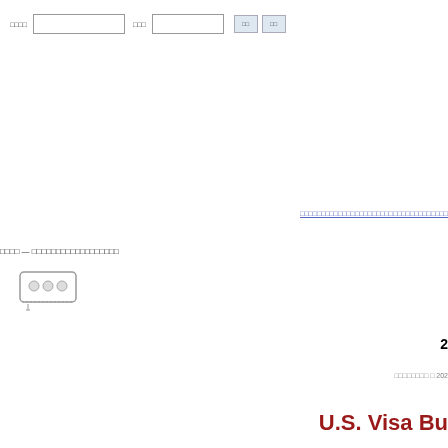□□□□  [search box]  □□□  [search box]  □□  □□
□□□□□□□□□□□□□□□□□□□□□□□□□□□□□□□□□□□
□□□□ — □□□□□□□□□□□□□□□□□□
[Figure (illustration): Small device/keyboard icon with three circular buttons]
2
□□□□□□□□ □ 202
U.S. Visa Bu